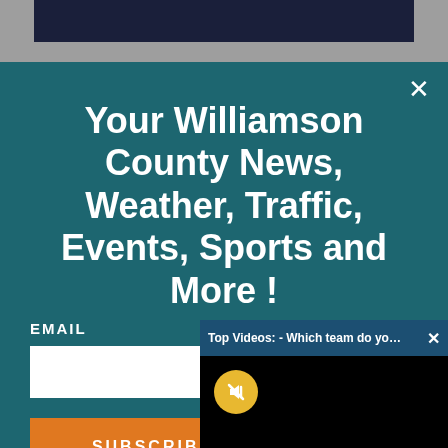[Figure (screenshot): Top browser chrome bar with dark banner, gray background]
Your Williamson County News, Weather, Traffic, Events, Sports and More !
EMAIL
SUBSCRIBE
[Figure (screenshot): Video popup overlay: 'Top Videos: - Which team do you fe...' with close button and muted video player showing black screen with yellow mute button]